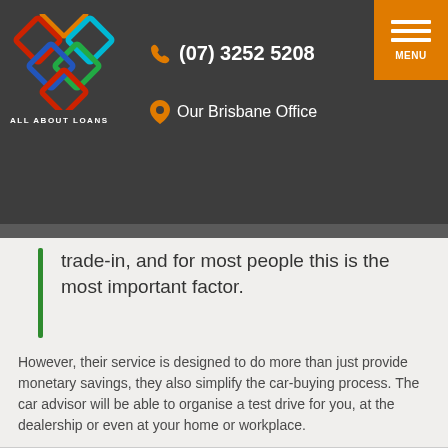ALL ABOUT LOANS | (07) 3252 5208 | Our Brisbane Office | MENU
trade-in, and for most people this is the most important factor.
However, their service is designed to do more than just provide monetary savings, they also simplify the car-buying process. The car advisor will be able to organise a test drive for you, at the dealership or even at your home or workplace.
When you are happy with the vehicle and the price the car-buying agency will organise your payment and in most cases, have the car delivered directly to you.